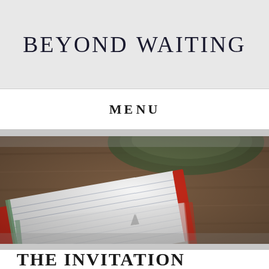BEYOND WAITING
MENU
[Figure (photo): Overhead photo of a red-covered notebook with lined pages open, partially overlapping another notebook, on a wooden table surface with a dark green bowl visible at the top. The image has a slightly blurred, desaturated aesthetic.]
THE INVITATION